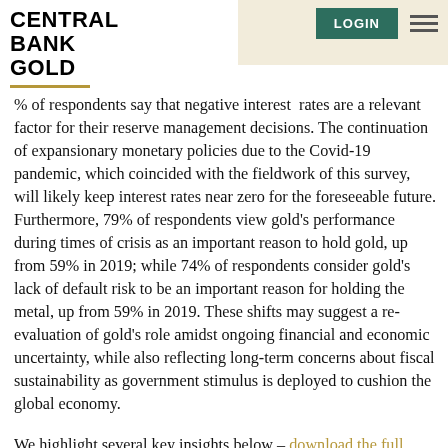Central Bank Gold — LOGIN [menu]
% of respondents say that negative interest rates are a relevant factor for their reserve management decisions. The continuation of expansionary monetary policies due to the Covid-19 pandemic, which coincided with the fieldwork of this survey, will likely keep interest rates near zero for the foreseeable future. Furthermore, 79% of respondents view gold's performance during times of crisis as an important reason to hold gold, up from 59% in 2019; while 74% of respondents consider gold's lack of default risk to be an important reason for holding the metal, up from 59% in 2019. These shifts may suggest a re-evaluation of gold's role amidst ongoing financial and economic uncertainty, while also reflecting long-term concerns about fiscal sustainability as government stimulus is deployed to cushion the global economy.
We highlight several key insights below – download the full